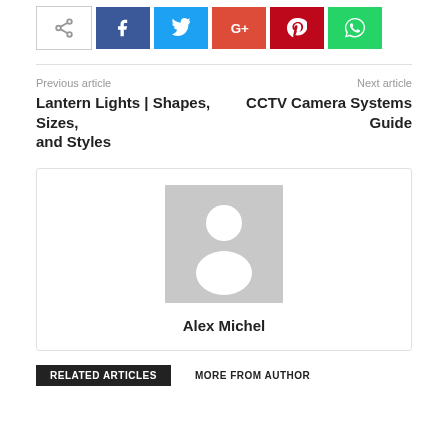[Figure (screenshot): Social share buttons: share icon, Facebook, Twitter, Google+, Pinterest, WhatsApp]
Previous article
Next article
Lantern Lights | Shapes, Sizes, and Styles
CCTV Camera Systems Guide
[Figure (photo): Author avatar placeholder - gray silhouette image]
Alex Michel
RELATED ARTICLES
MORE FROM AUTHOR